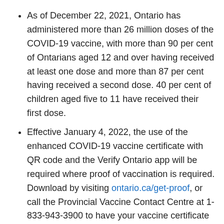As of December 22, 2021, Ontario has administered more than 26 million doses of the COVID-19 vaccine, with more than 90 per cent of Ontarians aged 12 and over having received at least one dose and more than 87 per cent having received a second dose. 40 per cent of children aged five to 11 have received their first dose.
Effective January 4, 2022, the use of the enhanced COVID-19 vaccine certificate with QR code and the Verify Ontario app will be required where proof of vaccination is required. Download by visiting ontario.ca/get-proof, or call the Provincial Vaccine Contact Centre at 1-833-943-3900 to have your vaccine certificate mailed.